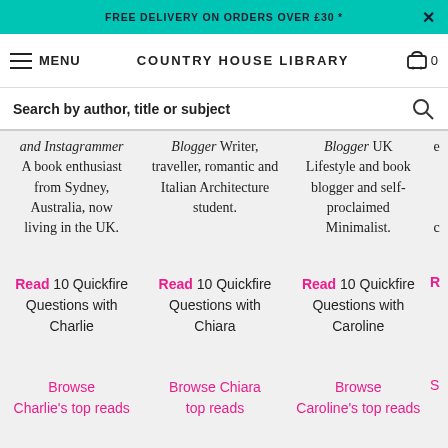FREE DELIVERY ON ORDERS OVER £30 *
COUNTRY HOUSE LIBRARY  MENU  0
Search by author, title or subject
and Instagrammer  A book enthusiast from Sydney, Australia, now living in the UK.
Blogger  Writer, traveller, romantic and Italian Architecture student.
Blogger  UK Lifestyle and book blogger and self-proclaimed Minimalist.
Read  10 Quickfire Questions with Charlie
Read  10 Quickfire Questions with Chiara
Read  10 Quickfire Questions with Caroline  R
Browse Charlie's top reads
Browse Chiara top reads
Browse Caroline's top reads  S